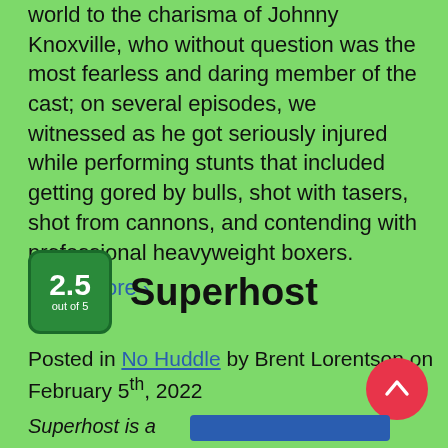world to the charisma of Johnny Knoxville, who without question was the most fearless and daring member of the cast; on several episodes, we witnessed as he got seriously injured while performing stunts that included getting gored by bulls, shot with tasers, shot from cannons, and contending with professional heavyweight boxers.
Read More >
[Figure (other): Rating badge showing 2.5 out of 5 in a green rounded square]
Superhost
Posted in No Huddle by Brent Lorentson on February 5th, 2022
Superhost is a